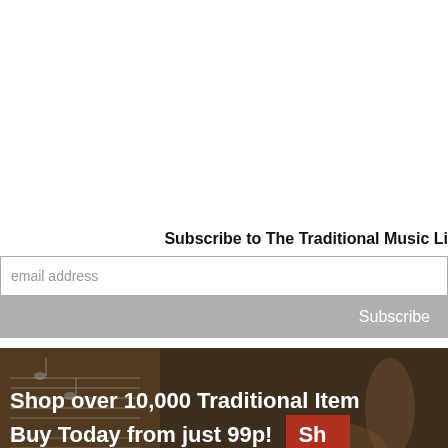Subscribe to The Traditional Music Li
email address
Subscribe
[Figure (infographic): Promotional banner with dark background showing musical instruments, text reads: Shop over 10,000 Traditional Items Buy Today from just 99p! with a red Shop button on the right]